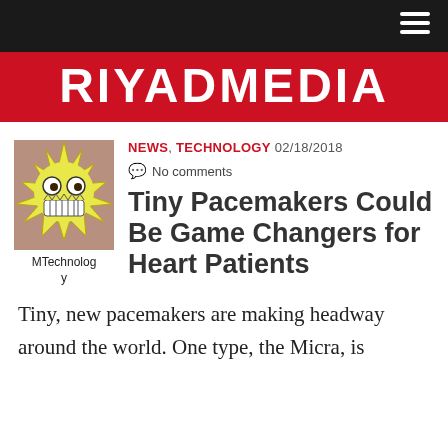RIYADMEDIA
[Figure (illustration): Cartoon monster/robot face with star-shaped yellow spiky border, googly eyes, and sharp teeth on a beige/brown background. Author avatar for MTechnology.]
MTechnology
NEWS, TECHNOLOGY 02/18/2018
No comments
Tiny Pacemakers Could Be Game Changers for Heart Patients
Tiny, new pacemakers are making headway around the world. One type, the Micra, is